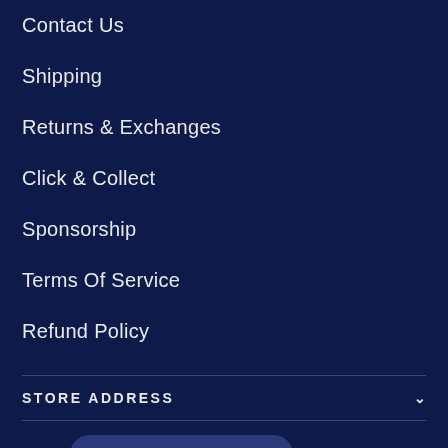Contact Us
Shipping
Returns & Exchanges
Click & Collect
Sponsorship
Terms Of Service
Refund Policy
STORE ADDRESS
O
THE BUFFALO CLUB